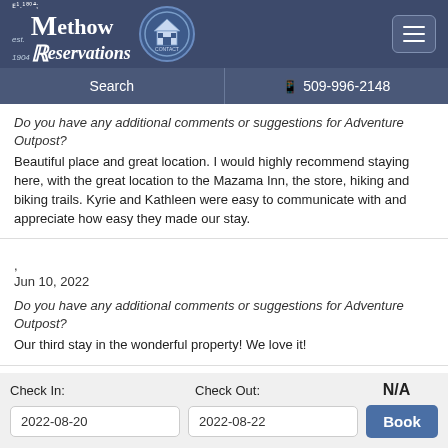Methow Reservations — Search | 509-996-2148
Do you have any additional comments or suggestions for Adventure Outpost?
Beautiful place and great location. I would highly recommend staying here, with the great location to the Mazama Inn, the store, hiking and biking trails. Kyrie and Kathleen were easy to communicate with and appreciate how easy they made our stay.
,
Jun 10, 2022
Do you have any additional comments or suggestions for Adventure Outpost?
Our third stay in the wonderful property! We love it!
Check In: 2022-08-20   Check Out: 2022-08-22   N/A   Book